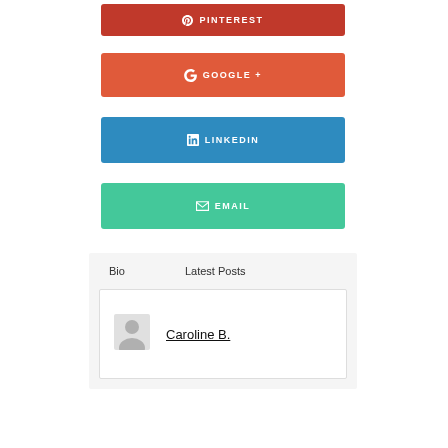[Figure (infographic): Pinterest social share button, dark red/crimson color with Pinterest logo icon and text PINTEREST]
[Figure (infographic): Google+ social share button, orange-red color with G+ logo icon and text GOOGLE+]
[Figure (infographic): LinkedIn social share button, blue color with LinkedIn logo icon and text LINKEDIN]
[Figure (infographic): Email social share button, green color with envelope icon and text EMAIL]
Bio
Latest Posts
[Figure (illustration): Generic user avatar placeholder icon, grey silhouette of a person]
Caroline B.